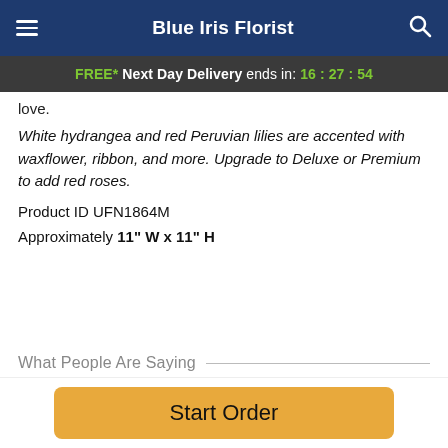Blue Iris Florist
FREE* Next Day Delivery ends in: 16:27:54
love.
White hydrangea and red Peruvian lilies are accented with waxflower, ribbon, and more. Upgrade to Deluxe or Premium to add red roses.
Product ID UFN1864M
Approximately 11" W x 11" H
What People Are Saying
Ted — ★★★★★  August 20, 2022
Start Order